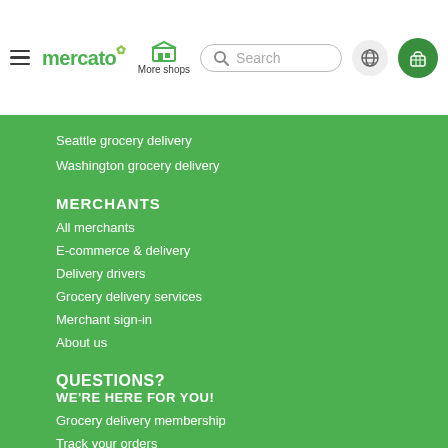mercato | More shops | Search | globe | cart
Seattle grocery delivery
Washington grocery delivery
MERCHANTS
All merchants
E-commerce & delivery
Delivery drivers
Grocery delivery services
Merchant sign-in
About us
QUESTIONS?
WE'RE HERE FOR YOU!
Grocery delivery membership
Track your orders